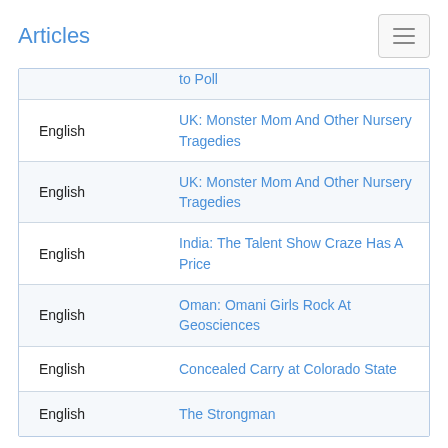Articles
| Language | Title |
| --- | --- |
|  | to Poll |
| English | UK: Monster Mom And Other Nursery Tragedies |
| English | UK: Monster Mom And Other Nursery Tragedies |
| English | India: The Talent Show Craze Has A Price |
| English | Oman: Omani Girls Rock At Geosciences |
| English | Concealed Carry at Colorado State |
| English | The Strongman |